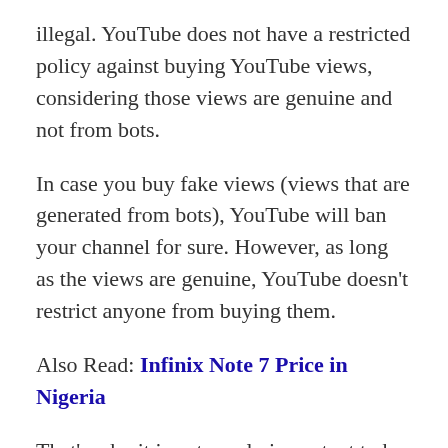illegal. YouTube does not have a restricted policy against buying YouTube views, considering those views are genuine and not from bots.
In case you buy fake views (views that are generated from bots), YouTube will ban your channel for sure. However, as long as the views are genuine, YouTube doesn't restrict anyone from buying them.
Also Read: Infinix Note 7 Price in Nigeria
That's why it is extremely important to be extra cautious while buying YouTube views. You need to find a platform that provides legitimate views within your budget. This way you'll be able to boost engagement to your channel without